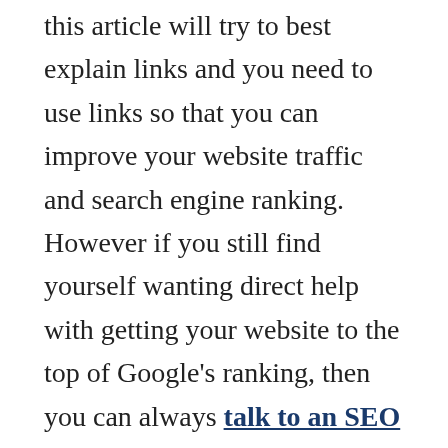this article will try to best explain links and you need to use links so that you can improve your website traffic and search engine ranking. However if you still find yourself wanting direct help with getting your website to the top of Google's ranking, then you can always talk to an SEO Analyst and get an SEO consultation catered specifically for your website.
What is a Link?
Link is short for hyperlink, and it is a clickable HTML object that allows the user